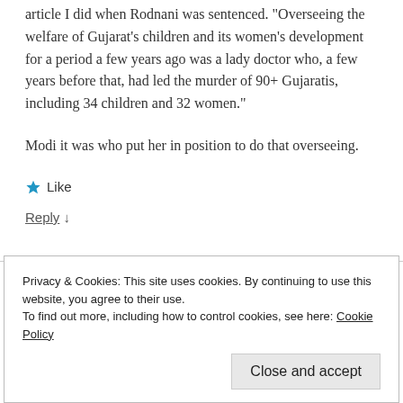article I did when Rodnani was sentenced. "Overseeing the welfare of Gujarat's children and its women's development for a period a few years ago was a lady doctor who, a few years before that, had led the murder of 90+ Gujaratis, including 34 children and 32 women."
Modi it was who put her in position to do that overseeing.
Like
Reply ↓
Privacy & Cookies: This site uses cookies. By continuing to use this website, you agree to their use.
To find out more, including how to control cookies, see here: Cookie Policy
Close and accept